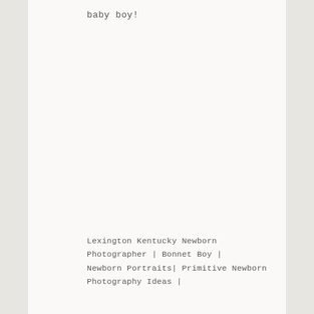baby boy!
Lexington Kentucky Newborn Photographer | Bonnet Boy | Newborn Portraits| Primitive Newborn Photography Ideas |